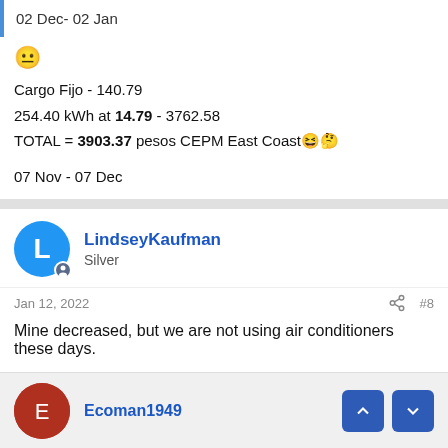02 Dec- 02 Jan
😐
Cargo Fijo - 140.79
254.40 kWh at 14.79 - 3762.58
TOTAL = 3903.37 pesos CEPM East Coast 😆🤔
07 Nov - 07 Dec
LindseyKaufman
Silver
Jan 12, 2022 #8
Mine decreased, but we are not using air conditioners these days.
Ecoman1949